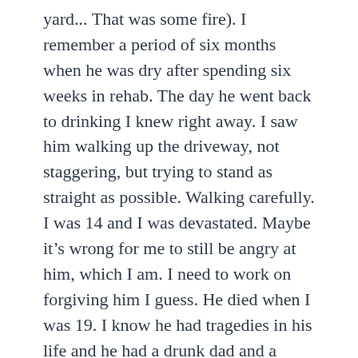yard... That was some fire). I remember a period of six months when he was dry after spending six weeks in rehab. The day he went back to drinking I knew right away. I saw him walking up the driveway, not staggering, but trying to stand as straight as possible. Walking carefully. I was 14 and I was devastated. Maybe it's wrong for me to still be angry at him, which I am. I need to work on forgiving him I guess. He died when I was 19. I know he had tragedies in his life and he had a drunk dad and a mother who spent 8 hours every Sunday at church. It all sucks. I just wish he had stopped and